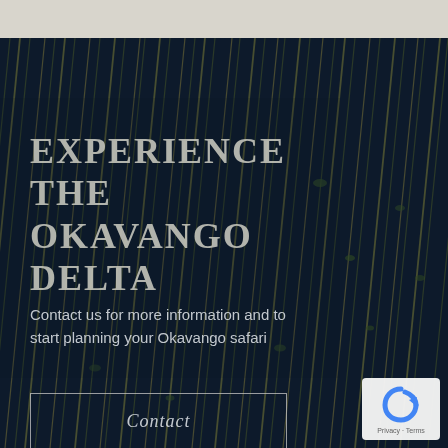[Figure (photo): Aerial or close-up photograph of wetland grasses and reeds in dark water, Okavango Delta. Dark navy blue water with diagonal yellow-green grass stems and small floating lily pads visible.]
EXPERIENCE THE OKAVANGO DELTA
Contact us for more information and to start planning your Okavango safari
Contact